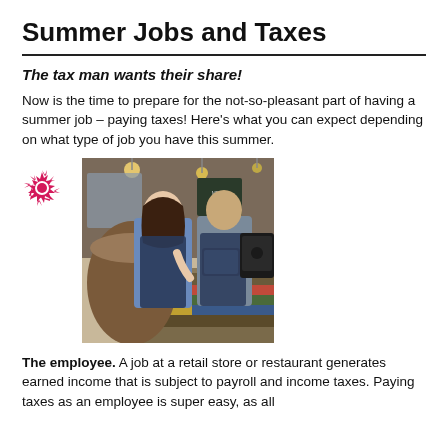Summer Jobs and Taxes
The tax man wants their share!
Now is the time to prepare for the not-so-pleasant part of having a summer job – paying taxes! Here's what you can expect depending on what type of job you have this summer.
[Figure (photo): Two young employees wearing dark aprons standing behind a colorfully painted wooden bar/counter in a cafe or restaurant. One is a young woman with long brown hair, the other a young man, both looking at a tablet device.]
The employee. A job at a retail store or restaurant generates earned income that is subject to payroll and income taxes. Paying taxes as an employee is super easy, as all